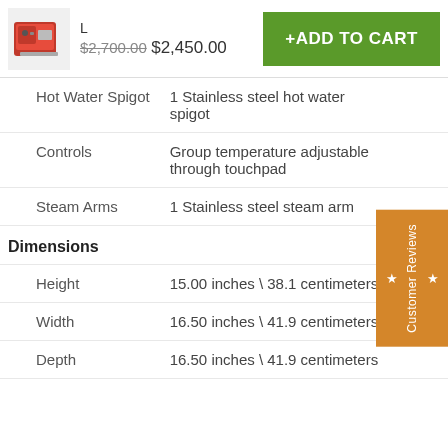[Figure (photo): Red espresso machine product photo thumbnail]
L $2,700.00 $2,450.00
+ADD TO CART
| Hot Water Spigot | 1 Stainless steel hot water spigot |
| Controls | Group temperature adjustable through touchpad |
| Steam Arms | 1 Stainless steel steam arm |
| Dimensions |  |
| Height | 15.00 inches \ 38.1 centimeters |
| Width | 16.50 inches \ 41.9 centimeters |
| Depth | 16.50 inches \ 41.9 centimeters |
★ Customer Reviews ★